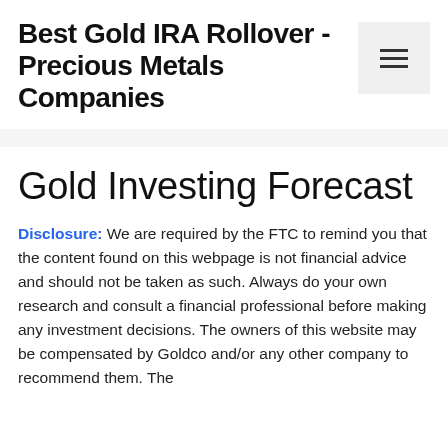Best Gold IRA Rollover - Precious Metals Companies
Gold Investing Forecast
Disclosure: We are required by the FTC to remind you that the content found on this webpage is not financial advice and should not be taken as such. Always do your own research and consult a financial professional before making any investment decisions. The owners of this website may be compensated by Goldco and/or any other company to recommend them. The